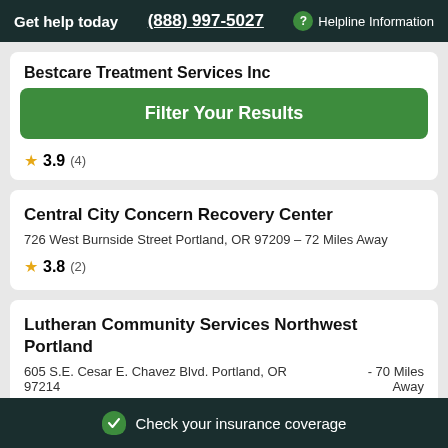Get help today  (888) 997-5027  ? Helpline Information
Bestcare Treatment Services Inc
Filter Your Results
★ 3.9 (4)
Central City Concern Recovery Center
726 West Burnside Street Portland, OR 97209 - 72 Miles Away
★ 3.8 (2)
Lutheran Community Services Northwest Portland
605 S.E. Cesar E. Chavez Blvd. Portland, OR 97214  - 70 Miles Away
★ 3.7 (1)
Check your insurance coverage